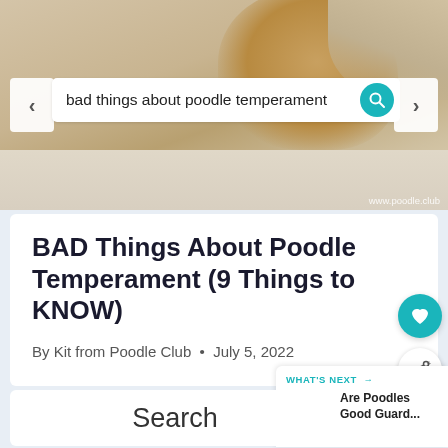[Figure (screenshot): Carousel image showing a poodle dog on a rug with a search bar overlay reading 'bad things about poodle temperament' and a teal search icon, navigation arrows on left and right, watermark 'www.poodle.club']
BAD Things About Poodle Temperament (9 Things to KNOW)
By Kit from Poodle Club • July 5, 2022
[Figure (other): Carousel pagination dots — 6 dots, first one dark/active, rest light gray]
[Figure (other): Teal circular heart/favorite button]
[Figure (other): White circular share button with share icon]
[Figure (other): What's Next panel showing thumbnail of dog and text 'Are Poodles Good Guard...' with teal header 'WHAT'S NEXT →']
Search